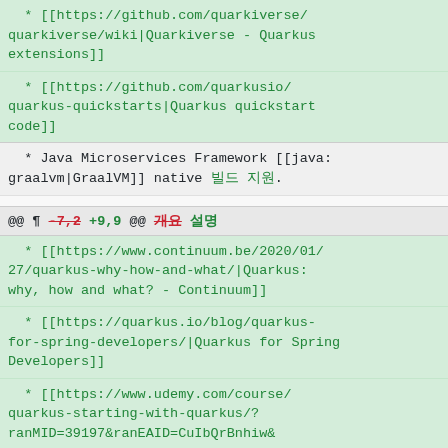* [[https://github.com/quarkiverse/quarkiverse/wiki|Quarkiverse - Quarkus extensions]]
* [[https://github.com/quarkusio/quarkus-quickstarts|Quarkus quickstart code]]
* Java Microservices Framework [[java:graalvm|GraalVM]] native 빌드 지원.
@@ ¶ -7,2 +9,9 @@ 개요 설명
* [[https://www.continuum.be/2020/01/27/quarkus-why-how-and-what/|Quarkus: why, how and what? - Continuum]]
* [[https://quarkus.io/blog/quarkus-for-spring-developers/|Quarkus for Spring Developers]]
* [[https://www.udemy.com/course/quarkus-starting-with-quarkus/?ranMID=39197&ranEAID=CuIbQrBnhiw&ranSiteID=CuIbQrBnhiw-